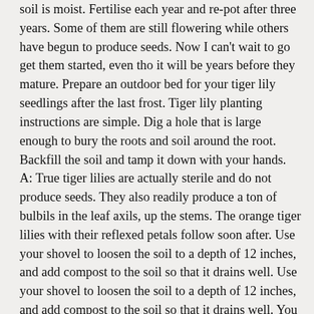soil is moist. Fertilise each year and re-pot after three years. Some of them are still flowering while others have begun to produce seeds. Now I can't wait to go get them started, even tho it will be years before they mature. Prepare an outdoor bed for your tiger lily seedlings after the last frost. Tiger lily planting instructions are simple. Dig a hole that is large enough to bury the roots and soil around the root. Backfill the soil and tamp it down with your hands. A: True tiger lilies are actually sterile and do not produce seeds. They also readily produce a ton of bulbils in the leaf axils, up the stems. The orange tiger lilies with their reflexed petals follow soon after. Use your shovel to loosen the soil to a depth of 12 inches, and add compost to the soil so that it drains well. Use your shovel to loosen the soil to a depth of 12 inches, and add compost to the soil so that it drains well. You can allow the seeds to dry, and collect the seed pod before it splits open, or falls off. Medicinally, tiger lilies are believed to relieve congestion and nausea. Another planting method -- one that takes up less space -- is to